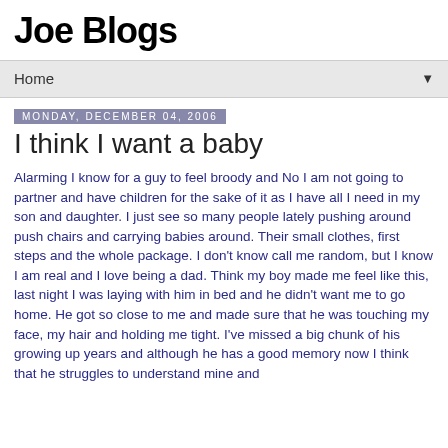Joe Blogs
Home ▼
Monday, December 04, 2006
I think I want a baby
Alarming I know for a guy to feel broody and No I am not going to partner and have children for the sake of it as I have all I need in my son and daughter. I just see so many people lately pushing around push chairs and carrying babies around. Their small clothes, first steps and the whole package. I don't know call me random, but I know I am real and I love being a dad. Think my boy made me feel like this, last night I was laying with him in bed and he didn't want me to go home. He got so close to me and made sure that he was touching my face, my hair and holding me tight. I've missed a big chunk of his growing up years and although he has a good memory now I think that he struggles to understand mine and